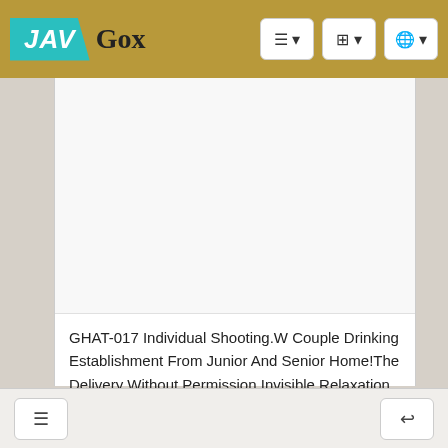JAV Gox
[Figure (other): Video thumbnail placeholder (white/blank area)]
GHAT-017 Individual Shooting.W Couple Drinking Establishment From Junior And Senior Home!The Delivery Without Permission Invisible Relaxation Drunk Sex!
HD
GHAT-017 / 2019-06-28